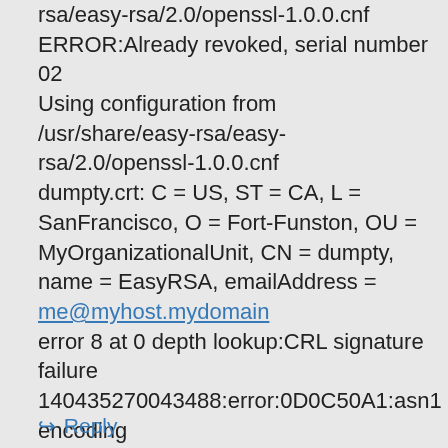rsa/easy-rsa/2.0/openssl-1.0.0.cnf
ERROR:Already revoked, serial number 02
Using configuration from /usr/share/easy-rsa/easy-rsa/2.0/openssl-1.0.0.cnf
dumpty.crt: C = US, ST = CA, L = SanFrancisco, O = Fort-Funston, OU = MyOrganizationalUnit, CN = dumpty, name = EasyRSA, emailAddress =
me@myhost.mydomain
error 8 at 0 depth lookup:CRL signature failure
140435270043488:error:0D0C50A1:asn1 encoding routines:ASN1_item_verify:unknown message digest algorithm:a_verify.c:206:
Reply